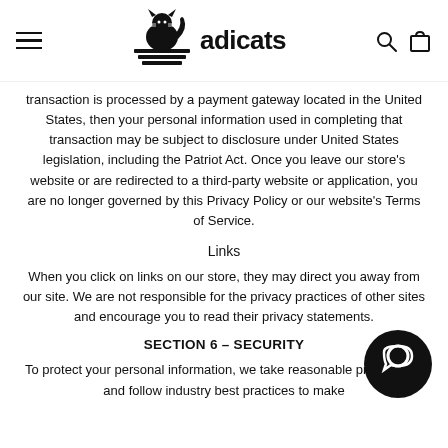adicats
transaction is processed by a payment gateway located in the United States, then your personal information used in completing that transaction may be subject to disclosure under United States legislation, including the Patriot Act. Once you leave our store's website or are redirected to a third-party website or application, you are no longer governed by this Privacy Policy or our website's Terms of Service.
Links
When you click on links on our store, they may direct you away from our site. We are not responsible for the privacy practices of other sites and encourage you to read their privacy statements.
SECTION 6 – SECURITY
To protect your personal information, we take reasonable precautions and follow industry best practices to make